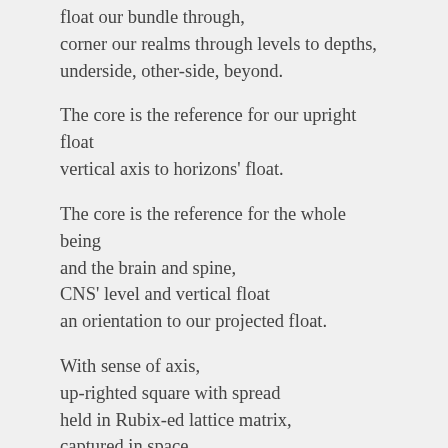float our bundle through,
corner our realms through levels to depths,
underside, other-side, beyond.
The core is the reference for our upright float
vertical axis to horizons' float.
The core is the reference for the whole being
and the brain and spine,
CNS' level and vertical float
an orientation to our projected float.
With sense of axis,
up-righted square with spread
held in Rubix-ed lattice matrix,
captured in space
of lost and bubbled bloat